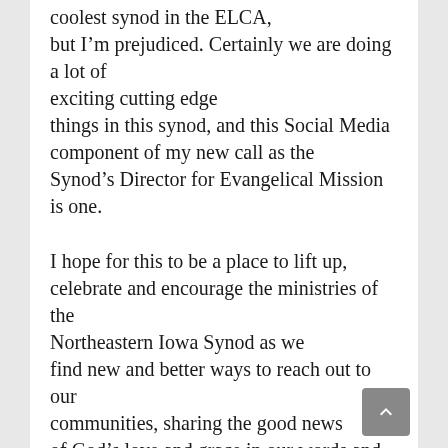coolest synod in the ELCA, but I'm prejudiced. Certainly we are doing a lot of exciting cutting edge things in this synod, and this Social Media component of my new call as the Synod's Director for Evangelical Mission is one.
I hope for this to be a place to lift up, celebrate and encourage the ministries of the Northeastern Iowa Synod as we find new and better ways to reach out to our communities, sharing the good news of God's love and grace in our words and actions.
When I lead worship I put the bulletin, hymns and